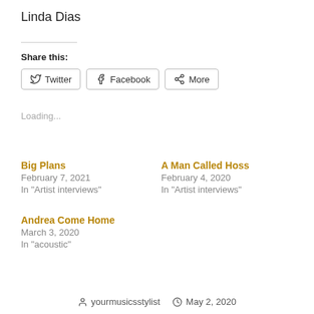Linda Dias
Share this:
Twitter  Facebook  More
Loading...
Big Plans
February 7, 2021
In "Artist interviews"
A Man Called Hoss
February 4, 2020
In "Artist interviews"
Andrea Come Home
March 3, 2020
In "acoustic"
yourmusicsstylist  May 2, 2020